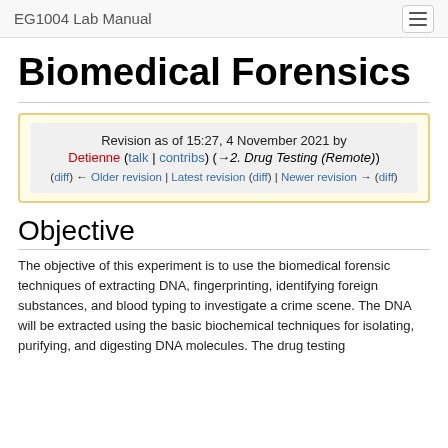EG1004 Lab Manual
Biomedical Forensics
Revision as of 15:27, 4 November 2021 by Detienne (talk | contribs) (→2. Drug Testing (Remote))
(diff) ← Older revision | Latest revision (diff) | Newer revision → (diff)
Objective
The objective of this experiment is to use the biomedical forensic techniques of extracting DNA, fingerprinting, identifying foreign substances, and blood typing to investigate a crime scene. The DNA will be extracted using the basic biochemical techniques for isolating, purifying, and digesting DNA molecules. The drug testing